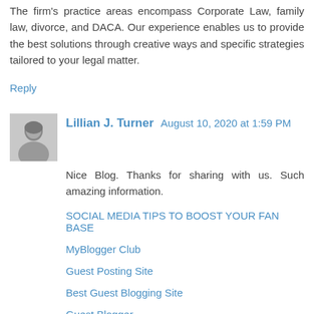The firm's practice areas encompass Corporate Law, family law, divorce, and DACA. Our experience enables us to provide the best solutions through creative ways and specific strategies tailored to your legal matter.
Reply
Lillian J. Turner  August 10, 2020 at 1:59 PM
Nice Blog. Thanks for sharing with us. Such amazing information.
SOCIAL MEDIA TIPS TO BOOST YOUR FAN BASE
MyBlogger Club
Guest Posting Site
Best Guest Blogging Site
Guest Blogger
Guest Blogging Site